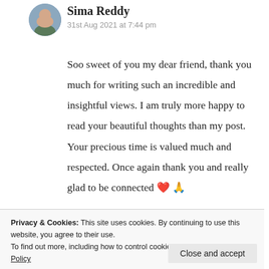Sima Reddy
31st Aug 2021 at 7:44 pm
Soo sweet of you my dear friend, thank you much for writing such an incredible and insightful views. I am truly more happy to read your beautiful thoughts than my post. Your precious time is valued much and respected. Once again thank you and really glad to be connected ❤️ 🙏
Privacy & Cookies: This site uses cookies. By continuing to use this website, you agree to their use.
To find out more, including how to control cookies, see here: Cookie Policy
Close and accept